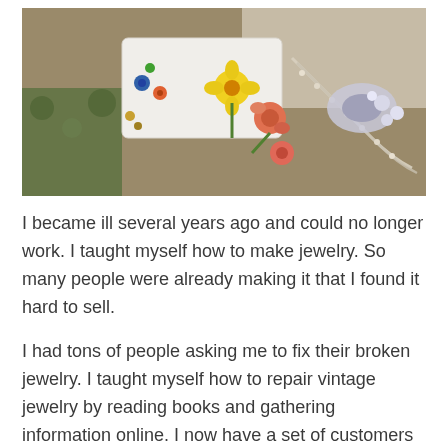[Figure (photo): A photograph of various vintage jewelry pieces including brooches, pearl necklaces, flower brooches, and earrings arranged on a white surface with a lace doily visible in the background.]
I became ill several years ago and could no longer work. I taught myself how to make jewelry. So many people were already making it that I found it hard to sell.
I had tons of people asking me to fix their broken jewelry. I taught myself how to repair vintage jewelry by reading books and gathering information online. I now have a set of customers that I do repairs